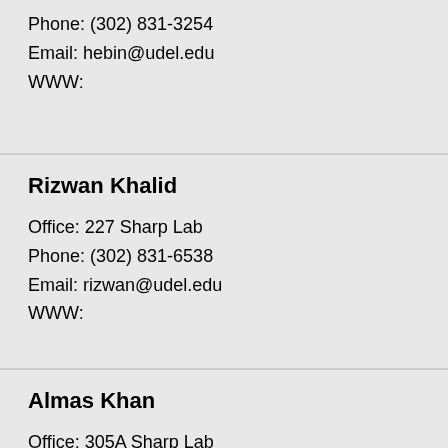Phone: (302) 831-3254
Email: hebin@udel.edu
WWW:
Rizwan Khalid
Office: 227 Sharp Lab
Phone: (302) 831-6538
Email: rizwan@udel.edu
WWW:
Almas Khan
Office: 305A Sharp Lab
Phone: (302) 831-6385
Email: almas@udel.edu
WWW: